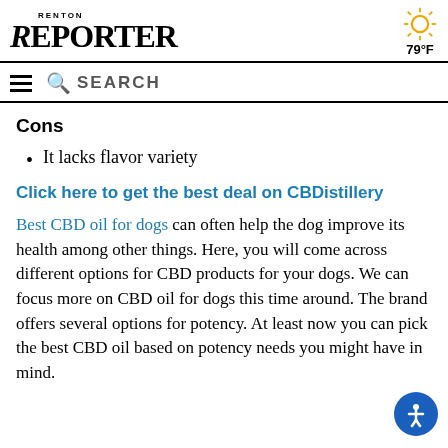Renton Reporter — 79°F
Cons
It lacks flavor variety
Click here to get the best deal on CBDistillery
Best CBD oil for dogs can often help the dog improve its health among other things. Here, you will come across different options for CBD products for your dogs. We can focus more on CBD oil for dogs this time around. The brand offers several options for potency. At least now you can pick the best CBD oil based on potency needs you might have in mind.